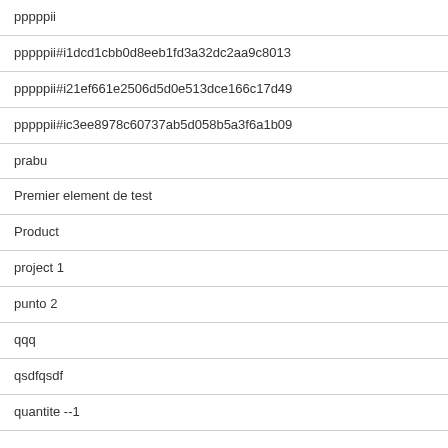| pppppii |
| pppppii#i1dcd1cbb0d8eeb1fd3a32dc2aa9c8013 |
| pppppii#i21ef661e2506d5d0e513dce166c17d49 |
| pppppii#ic3ee8978c60737ab5d058b5a3f6a1b09 |
| prabu |
| Premier element de test |
| Product |
| project 1 |
| punto 2 |
| qqq |
| qsdfqsdf |
| quantite --1 |